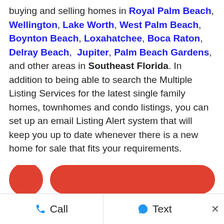buying and selling homes in Royal Palm Beach, Wellington, Lake Worth, West Palm Beach, Boynton Beach, Loxahatchee, Boca Raton, Delray Beach, Jupiter, Palm Beach Gardens, and other areas in Southeast Florida. In addition to being able to search the Multiple Listing Services for the latest single family homes, townhomes and condo listings, you can set up an email Listing Alert system that will keep you up to date whenever there is a new home for sale that fits your requirements.
New Listings in the Southeast Florida Real Estate Market
Call   Text   ×